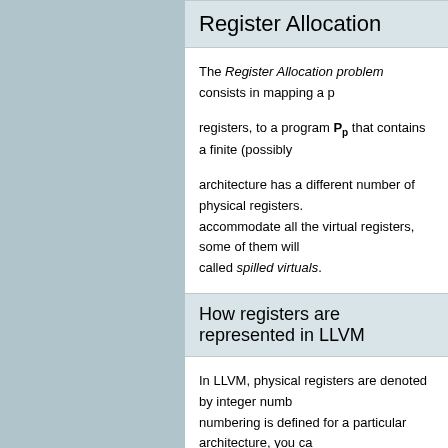Register Allocation
The Register Allocation problem consists in mapping a p registers, to a program P_p that contains a finite (possibly architecture has a different number of physical registers. accommodate all the virtual registers, some of them will called spilled virtuals.
How registers are represented in LLVM
In LLVM, physical registers are denoted by integer numb numbering is defined for a particular architecture, you ca architecture. For instance, by inspecting lib/Target/X register EAX is denoted by 43, and the MMX register MMG
Some architectures contain registers that share the sam platform. For instance, in the X86 architecture, the regis physical registers are marked as aliased in LLVM. Given are aliased by inspecting its RegisterInfo.td file. Mo the physical registers aliased to a register.